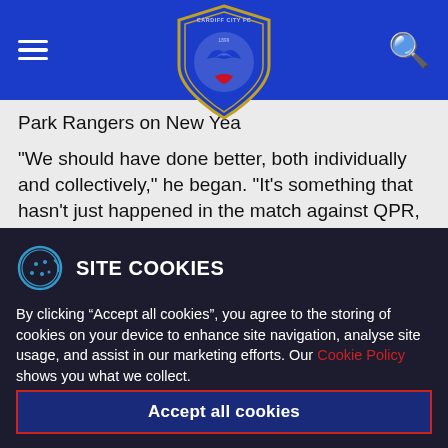Cardiff City FC header navigation bar with hamburger menu and search icon
[Figure (logo): Cardiff City FC crest/shield logo in the center of the blue header bar]
Park Rangers on New Yea…
"We should have done better, both individually and collectively," he began. "It's something that hasn't just happened in the match against QPR, but throughout the
SITE COOKIES
By clicking “Accept all cookies”, you agree to the storing of cookies on your device to enhance site navigation, analyse site usage, and assist in our marketing efforts. Our Cookie Policy shows you what we collect.
You can tailor your site experience by clicking "Set cookie preferences".
Accept all cookies